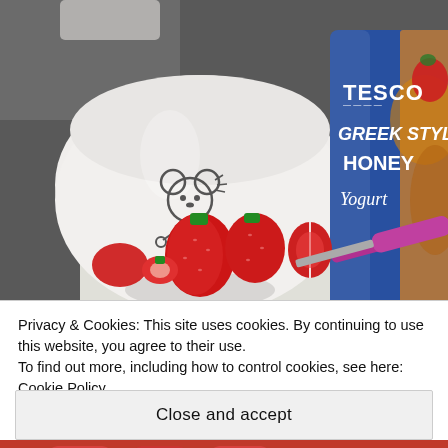[Figure (photo): Kitchen counter scene showing a white Mickey Mouse bowl, a Tesco Greek Style Honey Yogurt container, sliced fresh strawberries on a white cutting board, and a pink/purple knife on a dark countertop]
Privacy & Cookies: This site uses cookies. By continuing to use this website, you agree to their use.
To find out more, including how to control cookies, see here: Cookie Policy
Close and accept
[Figure (photo): Partial view of strawberries at bottom of page]